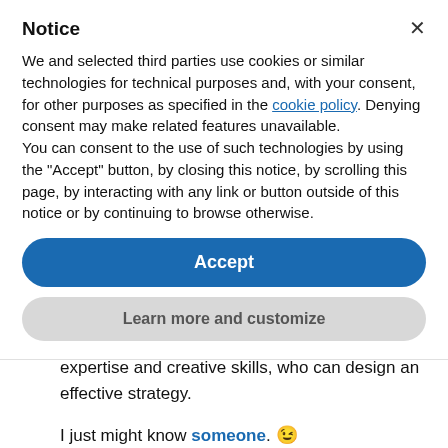Notice
We and selected third parties use cookies or similar technologies for technical purposes and, with your consent, for other purposes as specified in the cookie policy. Denying consent may make related features unavailable.
You can consent to the use of such technologies by using the “Accept” button, by closing this notice, by scrolling this page, by interacting with any link or button outside of this notice or by continuing to browse otherwise.
Accept
Learn more and customize
expertise and creative skills, who can design an effective strategy.
I just might know someone. 😉